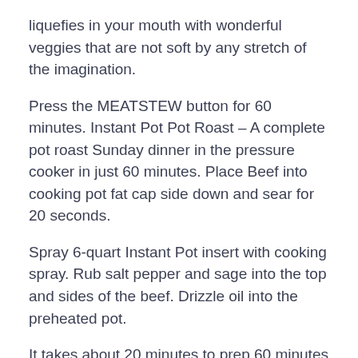liquefies in your mouth with wonderful veggies that are not soft by any stretch of the imagination.
Press the MEATSTEW button for 60 minutes. Instant Pot Pot Roast – A complete pot roast Sunday dinner in the pressure cooker in just 60 minutes. Place Beef into cooking pot fat cap side down and sear for 20 seconds.
Spray 6-quart Instant Pot insert with cooking spray. Rub salt pepper and sage into the top and sides of the beef. Drizzle oil into the preheated pot.
It takes about 20 minutes to prep 60 minutes to cook and 20 minutes to cool down — allow 15 minutes more for the gravy. The roast was very tender and flavorful. Having a marbled cut of meat adds more flavor as the fat melts into the roast while it cooks.
Add 2 teaspoons of the olive oil and sear. Do not move the meat allowing it to sear for 3 or 4 minutes. Using a sharp knife